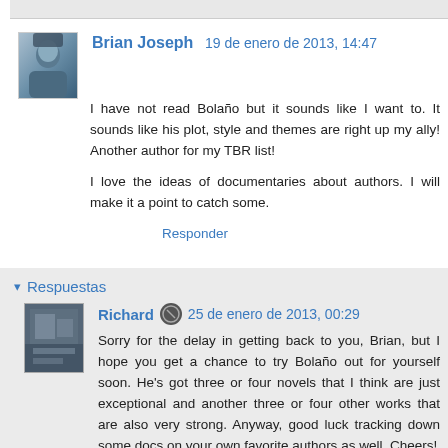Brian Joseph  19 de enero de 2013, 14:47
I have not read Bolaño but it sounds like I want to. It sounds like his plot, style and themes are right up my ally! Another author for my TBR list!

I love the ideas of documentaries about authors. I will make it a point to catch some.

Responder
▾ Respuestas
Richard  25 de enero de 2013, 00:29
Sorry for the delay in getting back to you, Brian, but I hope you get a chance to try Bolaño out for yourself soon. He's got three or four novels that I think are just exceptional and another three or four other works that are also very strong. Anyway, good luck tracking down some docs on your own favorite authors as well. Cheers!